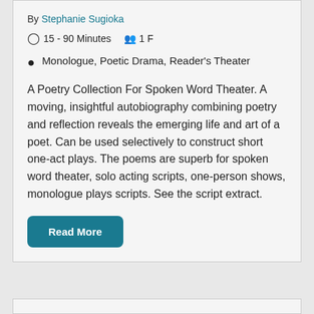By Stephanie Sugioka
15 - 90 Minutes  1 F
Monologue, Poetic Drama, Reader's Theater
A Poetry Collection For Spoken Word Theater. A moving, insightful autobiography combining poetry and reflection reveals the emerging life and art of a poet. Can be used selectively to construct short one-act plays. The poems are superb for spoken word theater, solo acting scripts, one-person shows, monologue plays scripts. See the script extract.
Read More